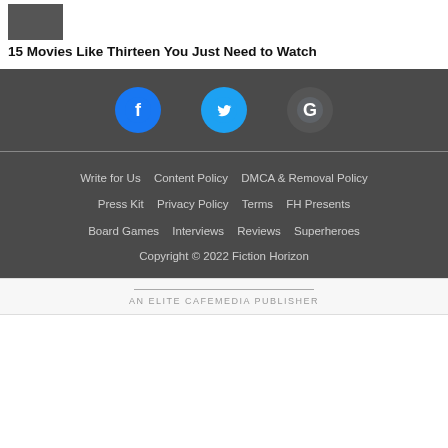[Figure (thumbnail): Small movie thumbnail image]
15 Movies Like Thirteen You Just Need to Watch
[Figure (infographic): Social media icons: Facebook (blue circle), Twitter (blue bird), Google (G logo)]
Write for Us  Content Policy  DMCA & Removal Policy  Press Kit  Privacy Policy  Terms  FH Presents  Board Games  Interviews  Reviews  Superheroes
Copyright © 2022 Fiction Horizon
AN ELITE CAFEMEDIA PUBLISHER